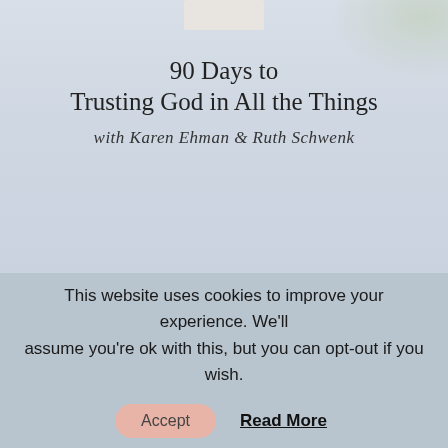[Figure (photo): Book cover image showing '90 Days to Trusting God in All the Things with Karen Ehman & Ruth Schwenk' on a light blue-grey background with botanical elements]
90 Days to Trusting God in All the Things
with Karen Ehman & Ruth Schwenk
[Figure (photo): Terracotta/rose speckled texture background with two pill-shaped quote overlays reading 'MAY WE NOT SHY AWAY' and 'FROM OUR SUFFERING.']
This website uses cookies to improve your experience. We'll assume you're ok with this, but you can opt-out if you wish.
Accept   Read More